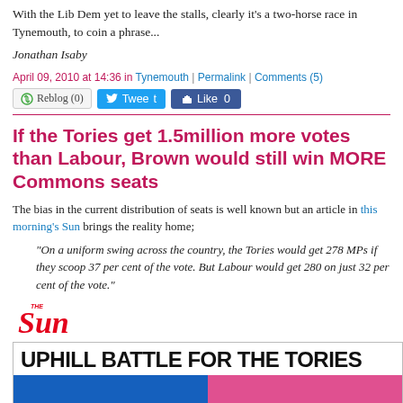With the Lib Dem yet to leave the stalls, clearly it's a two-horse race in Tynemouth, to coin a phrase...
Jonathan Isaby
April 09, 2010 at 14:36 in Tynemouth | Permalink | Comments (5)
[Figure (screenshot): Social sharing buttons: Reblog (0), Tweet, Like 0]
If the Tories get 1.5million more votes than Labour, Brown would still win MORE Commons seats
The bias in the current distribution of seats is well known but an article in this morning's Sun brings the reality home;
"On a uniform swing across the country, the Tories would get 278 MPs if they scoop 37 per cent of the vote. But Labour would get 280 on just 32 per cent of the vote."
[Figure (screenshot): The Sun newspaper logo and article headline 'UPHILL BATTLE FOR THE TORIES' with two colored sections below]